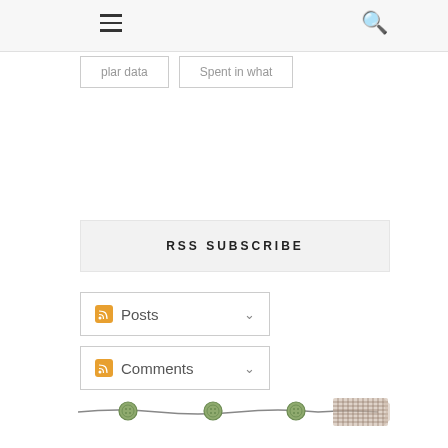Navigation bar with hamburger menu and search icon
plar data  |  Spent in what
RSS SUBSCRIBE
Posts
Comments
[Figure (illustration): Decorative ribbon strip with green buttons and checkered fabric bow at the end]